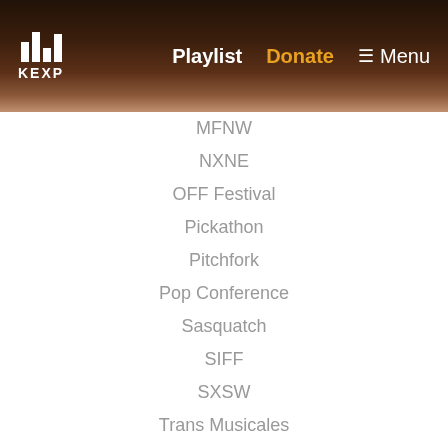KEXP | Playlist | Donate | Menu
MFNW
NXNE
OFF Festival
Pickathon
Pitchfork
Pop Conference
Sasquatch
SIFF
SXSW
Trans Musicales
Upstream Music Fest + Summit
FOR YOUR CONSIDERATION
KEXP EVENTS
Ballard Day
City to City: San Francisco
Community Partnerships
Concerts at the Mural
Hood to Hood
KEXP BBQ